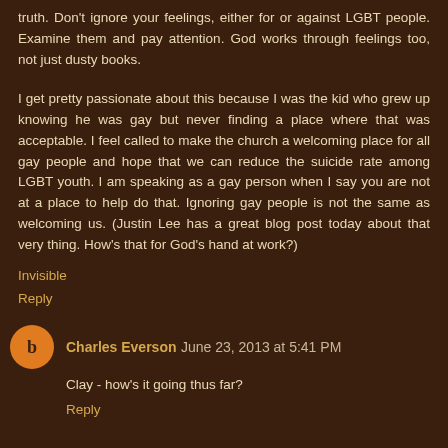truth. Don't ignore your feelings, either for or against LGBT people. Examine them and pay attention. God works through feelings too, not just dusty books.
I get pretty passionate about this because I was the kid who grew up knowing he was gay but never finding a place where that was acceptable. I feel called to make the church a welcoming place for all gay people and hope that we can reduce the suicide rate among LGBT youth. I am speaking as a gay person when I say you are not at a place to help do that. Ignoring gay people is not the same as welcoming us. (Justin Lee has a great blog post today about that very thing. How's that for God's hand at work?)
Invisible
Reply
Charles Everson June 23, 2013 at 5:41 PM
Clay - how's it going thus far?
Reply